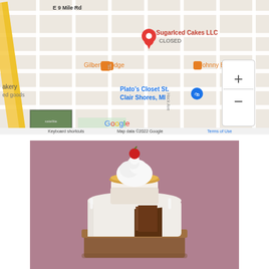[Figure (map): Google Maps screenshot showing SugarIced Cakes LLC (CLOSED) location near E 9 Mile Rd in St. Clair Shores, MI. Nearby places include Gilbert's Lodge, Johnny B's Co, Plato's Closet St. Clair Shores MI, and a bakery. Map controls (+/-) visible. Footer shows: Keyboard shortcuts | Map data ©2022 Google | Terms of Use]
[Figure (photo): Photo of a decorated cake with a cupcake on top. The cupcake has white frosting swirls and a red cherry. The main cake has white frosting, a slice cut out showing chocolate interior, and a nut/crumble border at the base. Background is muted mauve/pink.]